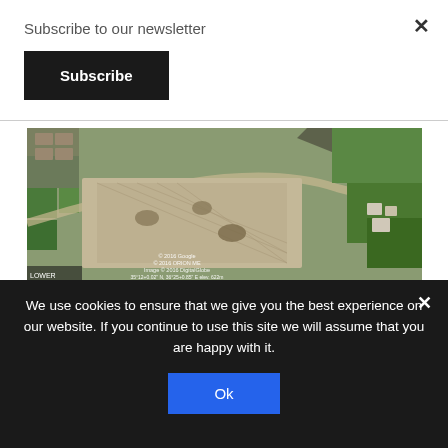Subscribe to our newsletter
Subscribe
[Figure (photo): Satellite aerial view of agricultural fields and land, Google Earth imagery with coordinates visible at bottom: © 2016 Google, © 2016 ORION ME, Image © 2016 DigitalGlobe, 35°12+0.02" N, 36°25+0.85" E elev. 622m]
Satellite photograph of the Deir Qanita area
We use cookies to ensure that we give you the best experience on our website. If you continue to use this site we will assume that you are happy with it.
Ok